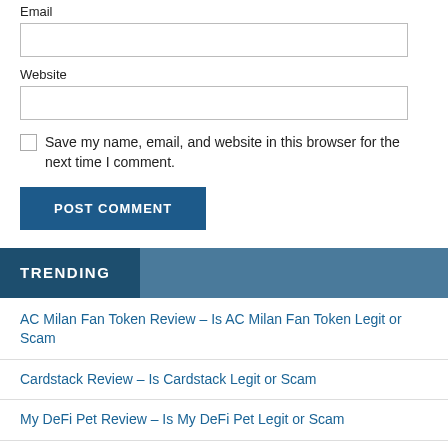Email
Website
Save my name, email, and website in this browser for the next time I comment.
POST COMMENT
TRENDING
AC Milan Fan Token Review – Is AC Milan Fan Token Legit or Scam
Cardstack Review – Is Cardstack Legit or Scam
My DeFi Pet Review – Is My DeFi Pet Legit or Scam
MetisDAO Review – Is MetisDAO Legit or Scam